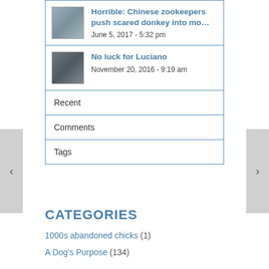Horrible: Chinese zookeepers push scared donkey into mo… June 5, 2017 - 5:32 pm
No luck for Luciano November 20, 2016 - 9:19 am
Recent
Comments
Tags
CATEGORIES
1000s abandoned chicks (1)
A Dog's Purpose (134)